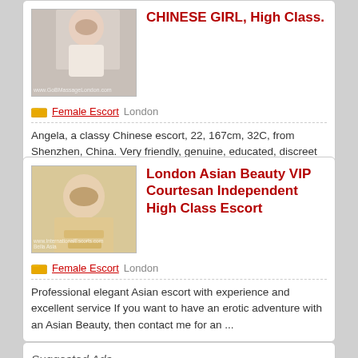[Figure (photo): Photo of Chinese woman in white top]
CHINESE GIRL, High Class.
Female Escort   London
Angela, a classy Chinese escort, 22, 167cm, 32C, from Shenzhen, China. Very friendly, genuine, educated, discreet and clean and most important she is a very ...
[Figure (photo): Photo of Asian woman with gold jewelry]
London Asian Beauty VIP Courtesan Independent High Class Escort
Female Escort   London
Professional elegant Asian escort with experience and excellent service If you want to have an erotic adventure with an Asian Beauty, then contact me for an ...